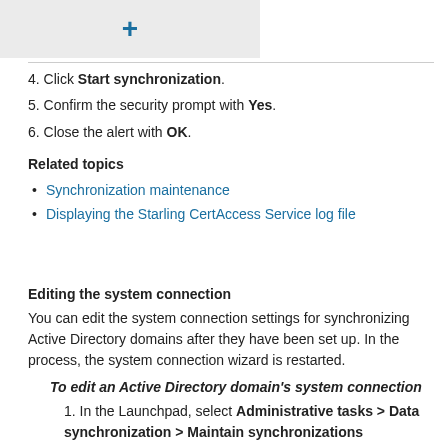[Figure (other): Grey toolbar button with a blue plus (+) icon]
4. Click Start synchronization.
5. Confirm the security prompt with Yes.
6. Close the alert with OK.
Related topics
Synchronization maintenance
Displaying the Starling CertAccess Service log file
Editing the system connection
You can edit the system connection settings for synchronizing Active Directory domains after they have been set up. In the process, the system connection wizard is restarted.
To edit an Active Directory domain's system connection
1. In the Launchpad, select Administrative tasks > Data synchronization > Maintain synchronizations